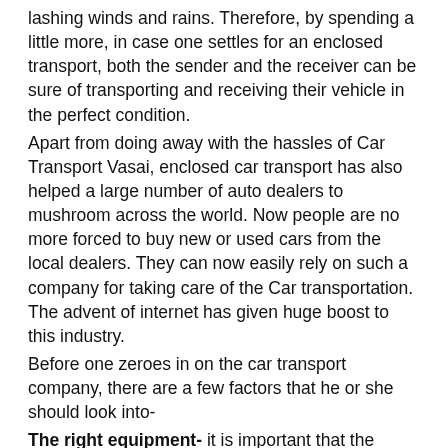lashing winds and rains. Therefore, by spending a little more, in case one settles for an enclosed transport, both the sender and the receiver can be sure of transporting and receiving their vehicle in the perfect condition.
Apart from doing away with the hassles of Car Transport Vasai, enclosed car transport has also helped a large number of auto dealers to mushroom across the world. Now people are no more forced to buy new or used cars from the local dealers. They can now easily rely on such a company for taking care of the Car transportation. The advent of internet has given huge boost to this industry.
Before one zeroes in on the car transport company, there are a few factors that he or she should look into-
The right equipment- it is important that the enclosed vehicle that is intended for the job is hard sided and completely enclosed, so that it protects the cars from dust, rock and weather. This becomes all the more important if one is moving a vintage or a collector's car.
Safe loading and unloading- it is also important that these trucks are equipped with hydraulic lifts, etc. This is...